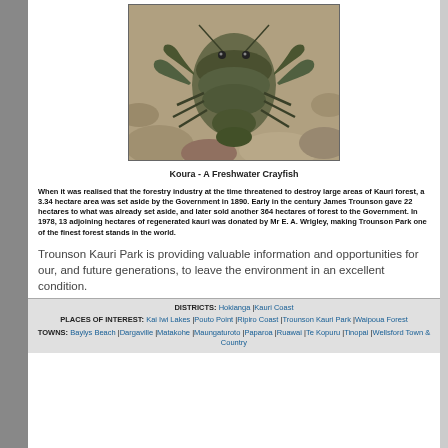[Figure (photo): Close-up photo of a Koura (freshwater crayfish) on rocks]
Koura - A Freshwater Crayfish
When it was realised that the forestry industry at the time threatened to destroy large areas of Kauri forest, a 3.34 hectare area was set aside by the Government in 1890. Early in the century James Trounson gave 22 hectares to what was already set aside, and later sold another 364 hectares of forest to the Government. In 1978, 13 adjoining hectares of regenerated kauri was donated by Mr E. A. Wrigley, making Trounson Park one of the finest forest stands in the world.
Trounson Kauri Park is providing valuable information and opportunities for our, and future generations, to leave the environment in an excellent condition.
DISTRICTS: Hokianga |Kauri Coast
PLACES OF INTEREST: Kai Iwi Lakes |Pouto Point |Ripiro Coast |Trounson Kauri Park |Waipoua Forest
TOWNS: Baylys Beach |Dargaville |Matakohe |Maungaturoto |Paparoa |Ruawai |Te Kopuru |Tinopai |Wellsford Town & Country